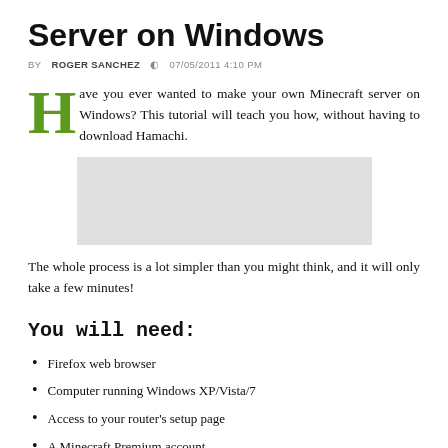Server on Windows
BY ROGER SANCHEZ  07/05/2011 4:10 PM
Have you ever wanted to make your own Minecraft server on Windows? This tutorial will teach you how, without having to download Hamachi.
[Figure (photo): Placeholder image / advertisement block (light gray rectangle)]
The whole process is a lot simpler than you might think, and it will only take a few minutes!
You will need:
Firefox web browser
Computer running Windows XP/Vista/7
Access to your router's setup page
A Minecraft Premium account